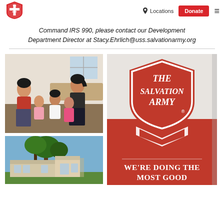The Salvation Army — Navigation bar with logo, Locations, Donate, and hamburger menu
Command IRS 990, please contact our Development Department Director at Stacy.Ehrlich@uss.salvationarmy.org
[Figure (photo): Family photo: a man and woman with three young children sitting together indoors]
[Figure (photo): Exterior photo of a building with large trees in front]
[Figure (illustration): The Salvation Army red shield logo poster with text 'WE'RE DOING THE MOST GOOD' on red background]